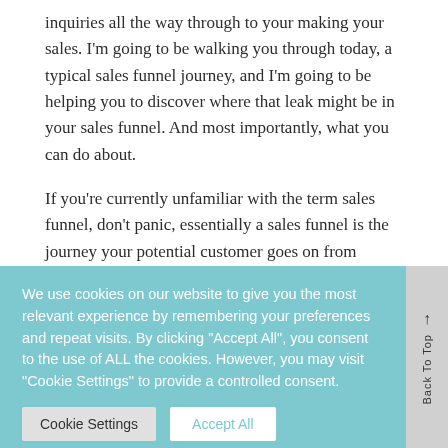inquiries all the way through to your making your sales. I'm going to be walking you through today, a typical sales funnel journey, and I'm going to be helping you to discover where that leak might be in your sales funnel. And most importantly, what you can do about.
If you're currently unfamiliar with the term sales funnel, don't panic, essentially a sales funnel is the journey your potential customer goes on from discovering you exist in the first place, right through
We use cookies on our website to give you the most relevant experience by remembering your preferences and repeat visits. By clicking "Accept All", you consent to the use of ALL the cookies. However, you may visit "Cookie Settings" to provide a controlled consent.